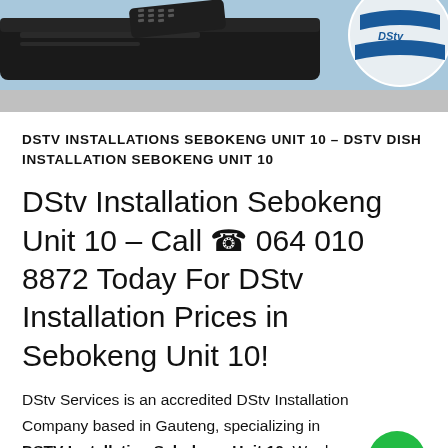[Figure (photo): DStv product banner showing a set-top box with remote control on the left and a DStv branded satellite ball on the right, against a light blue background]
DSTV INSTALLATIONS SEBOKENG UNIT 10 – DSTV DISH INSTALLATION SEBOKENG UNIT 10
DStv Installation Sebokeng Unit 10 – Call ☎ 064 010 8872 Today For DStv Installation Prices in Sebokeng Unit 10!
DStv Services is an accredited DStv Installation Company based in Gauteng, specializing in DSTV Installation Sebokeng Unit 10. We do ExtraView